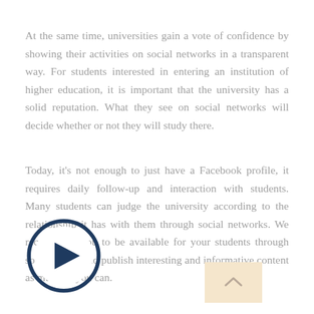At the same time, universities gain a vote of confidence by showing their activities on social networks in a transparent way. For students interested in entering an institution of higher education, it is important that the university has a solid reputation. What they see on social networks will decide whether or not they will study there.
Today, it's not enough to just have a Facebook profile, it requires daily follow-up and interaction with students. Many students can judge the university according to the relationship it has with them through social networks. We recommend you to be available for your students through social media and publish interesting and informative content as much as you can.
[Figure (other): Play button icon - circular button with dark navy border and play triangle symbol]
[Figure (other): Scroll up button - light tan/beige rectangle with an upward-pointing chevron arrow]